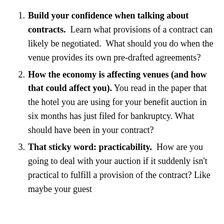Build your confidence when talking about contracts. Learn what provisions of a contract can likely be negotiated. What should you do when the venue provides its own pre-drafted agreements?
How the economy is affecting venues (and how that could affect you). You read in the paper that the hotel you are using for your benefit auction in six months has just filed for bankruptcy. What should have been in your contract?
That sticky word: practicability. How are you going to deal with your auction if it suddenly isn't practical to fulfill a provision of the contract? Like maybe your guest